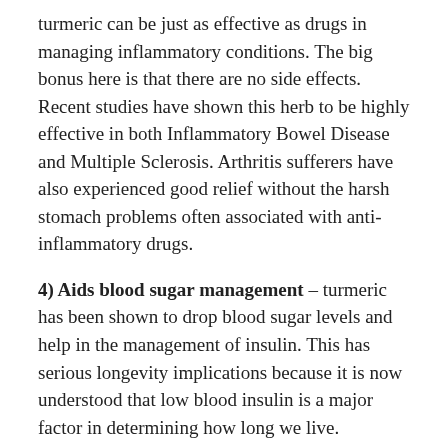turmeric can be just as effective as drugs in managing inflammatory conditions. The big bonus here is that there are no side effects. Recent studies have shown this herb to be highly effective in both Inflammatory Bowel Disease and Multiple Sclerosis. Arthritis sufferers have also experienced good relief without the harsh stomach problems often associated with anti-inflammatory drugs.
4) Aids blood sugar management – turmeric has been shown to drop blood sugar levels and help in the management of insulin. This has serious longevity implications because it is now understood that low blood insulin is a major factor in determining how long we live.
5) Improves digestion and sponsors weight loss – curcumin stimulates both the gallbladder and bile production and bile helps to digest fat. Poor fat digestion is